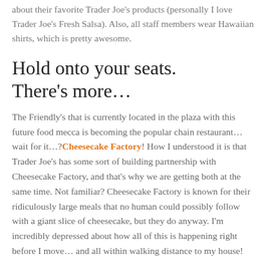about their favorite Trader Joe's products (personally I love Trader Joe's Fresh Salsa). Also, all staff members wear Hawaiian shirts, which is pretty awesome.
Hold onto your seats. There's more...
The Friendly's that is currently located in the plaza with this future food mecca is becoming the popular chain restaurant… wait for it…? Cheesecake Factory! How I understood it is that Trader Joe's has some sort of building partnership with Cheesecake Factory, and that's why we are getting both at the same time. Not familiar? Cheesecake Factory is known for their ridiculously large meals that no human could possibly follow with a giant slice of cheesecake, but they do anyway. I'm incredibly depressed about how all of this is happening right before I move… and all within walking distance to my house!